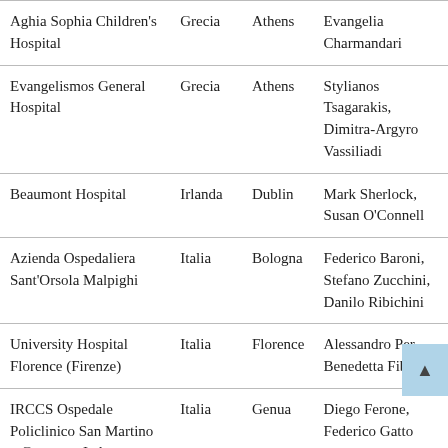| Aghia Sophia Children's Hospital | Grecia | Athens | Evangelia Charmandari |
| Evangelismos General Hospital | Grecia | Athens | Stylianos Tsagarakis, Dimitra-Argyro Vassiliadi |
| Beaumont Hospital | Irlanda | Dublin | Mark Sherlock, Susan O'Connell |
| Azienda Ospedaliera Sant'Orsola Malpighi | Italia | Bologna | Federico Baroni, Stefano Zucchini, Danilo Ribichini |
| University Hospital Florence (Firenze) | Italia | Florence | Alessandro Peri, Benedetta Fibbi |
| IRCCS Ospedale Policlinico San Martino – Genova – Italy | Italia | Genua | Diego Ferone, Federico Gatto |
| Ospedale San Raffaele | Italia | Milan | Gianni Russo, Gabriella |